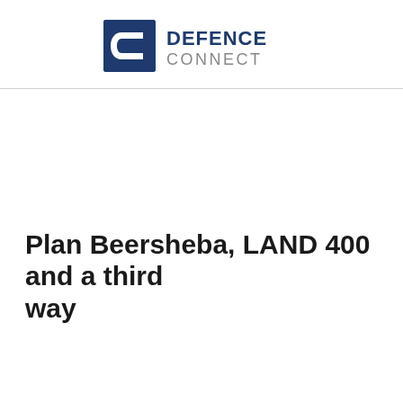Defence Connect
Plan Beersheba, LAND 400 and a third way